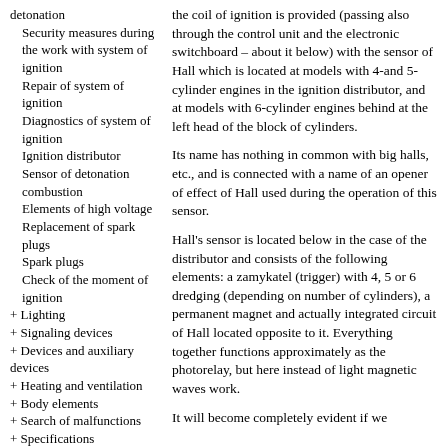detonation
Security measures during the work with system of ignition
Repair of system of ignition
Diagnostics of system of ignition
Ignition distributor
Sensor of detonation combustion
Elements of high voltage
Replacement of spark plugs
Spark plugs
Check of the moment of ignition
+ Lighting
+ Signaling devices
+ Devices and auxiliary devices
+ Heating and ventilation
+ Body elements
+ Search of malfunctions
+ Specifications
the coil of ignition is provided (passing also through the control unit and the electronic switchboard – about it below) with the sensor of Hall which is located at models with 4-and 5-cylinder engines in the ignition distributor, and at models with 6-cylinder engines behind at the left head of the block of cylinders.
Its name has nothing in common with big halls, etc., and is connected with a name of an opener of effect of Hall used during the operation of this sensor.
Hall's sensor is located below in the case of the distributor and consists of the following elements: a zamykatel (trigger) with 4, 5 or 6 dredging (depending on number of cylinders), a permanent magnet and actually integrated circuit of Hall located opposite to it. Everything together functions approximately as the photorelay, but here instead of light magnetic waves work.
It will become completely evident if we